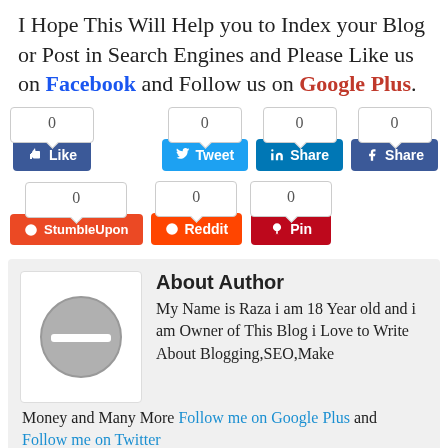I Hope This Will Help you to Index your Blog or Post in Search Engines and Please Like us on Facebook and Follow us on Google Plus.
[Figure (screenshot): Social media sharing buttons row 1: Facebook Like (0), Twitter Tweet (0), LinkedIn Share (0), Facebook Share (0)]
[Figure (screenshot): Social media sharing buttons row 2: StumbleUpon (0), Reddit (0), Pinterest Pin (0)]
About Author
My Name is Raza i am 18 Year old and i am Owner of This Blog i Love to Write About Blogging,SEO,Make Money and Many More Follow me on Google Plus and Follow me on Twitter